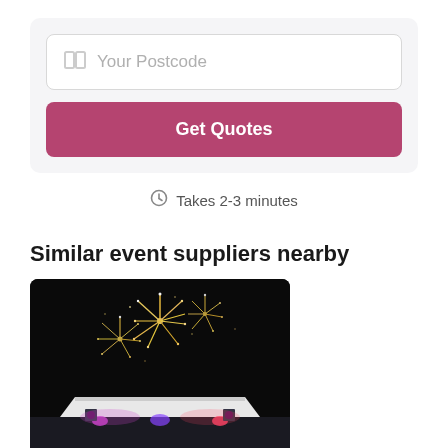[Figure (screenshot): Postcode input field with map icon and placeholder text 'Your Postcode', and a pink 'Get Quotes' button below inside a light grey card]
Takes 2-3 minutes
Similar event suppliers nearby
[Figure (photo): Fireworks exploding in the night sky above a white tent/stage structure with colorful lights]